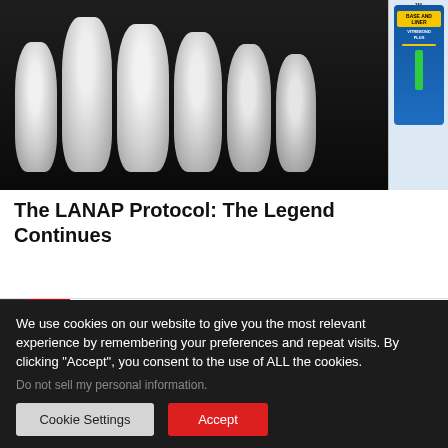[Figure (photo): Black and white dental X-ray or photo showing multiple teeth close-up, dark background. Adjacent to a product image on the right showing a dental product packaging in blue with yellow label.]
The LANAP Protocol: The Legend Continues
[Figure (logo): Glidewell Symposium 2022 logo with a stylized tooth icon made of colored dots/pixels on left, dark and red diagonal stripe on far left, and text 'GLIDEWELL SYMPOSIUM 2022' where 2022 is in red.]
We use cookies on our website to give you the most relevant experience by remembering your preferences and repeat visits. By clicking “Accept”, you consent to the use of ALL the cookies.
Do not sell my personal information.
Cookie Settings
Accept